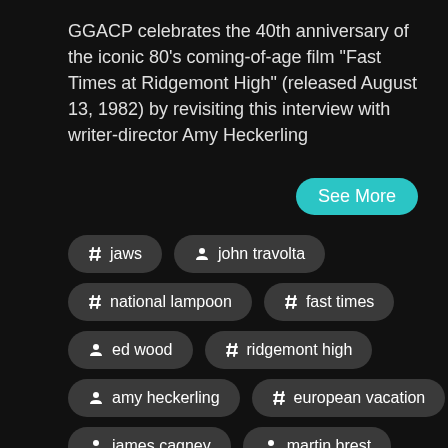GGACP celebrates the 40th anniversary of the iconic 80's coming-of-age film "Fast Times at Ridgemont High" (released August 13, 1982) by revisiting this interview with writer-director Amy Heckerling
See More
# jaws
person john travolta
# national lampoon
# fast times
person ed wood
# ridgemont high
person amy heckerling
# european vacation
person james cagney
person martin brest
person terry southern
# ggacp